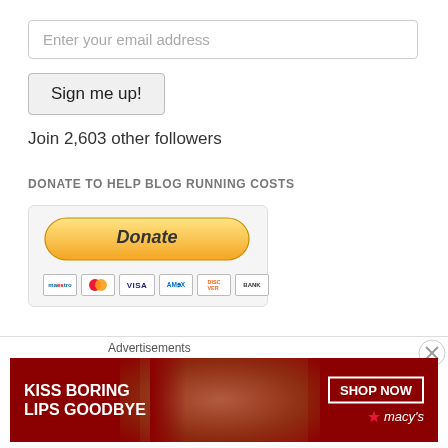Enter your email address
Sign me up!
Join 2,603 other followers
DONATE TO HELP BLOG RUNNING COSTS
[Figure (other): PayPal Donate button with payment card icons (Maestro, MasterCard, VISA, AmEx, Discover, Bank)]
TOP POSTS & PAGES
Advertisements
[Figure (photo): Macy's advertisement banner: KISS BORING LIPS GOODBYE with SHOP NOW button and Macy's star logo, featuring a woman's face with red lipstick]